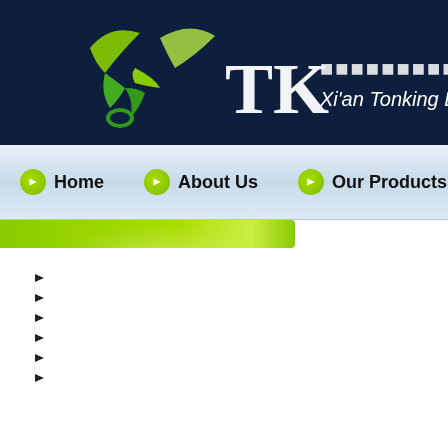[Figure (logo): TK logo with green leaf/bird design and text Xi'an Tonking Biotech Co. on dark navy background]
Xi'an Tonking Biotech Co.
Home
About Us
Our Products
[Figure (illustration): Green decorative banner bar]